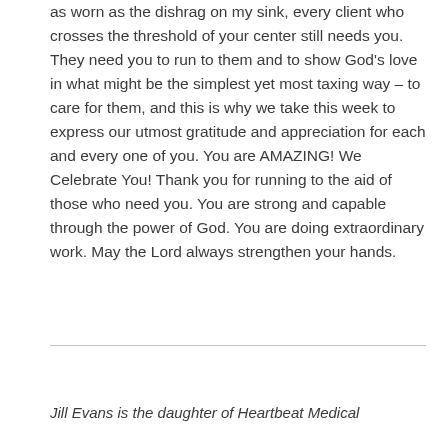as worn as the dishrag on my sink, every client who crosses the threshold of your center still needs you. They need you to run to them and to show God's love in what might be the simplest yet most taxing way – to care for them, and this is why we take this week to express our utmost gratitude and appreciation for each and every one of you. You are AMAZING! We Celebrate You! Thank you for running to the aid of those who need you. You are strong and capable through the power of God. You are doing extraordinary work. May the Lord always strengthen your hands.
Jill Evans is the daughter of Heartbeat Medical